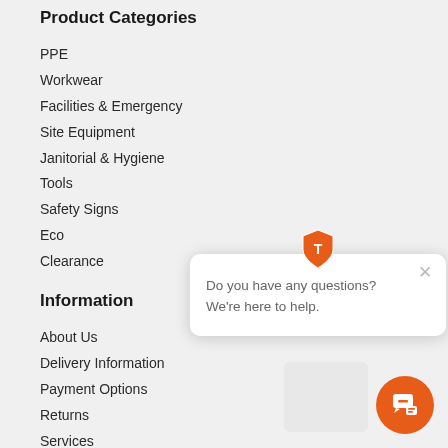Product Categories
PPE
Workwear
Facilities & Emergency
Site Equipment
Janitorial & Hygiene
Tools
Safety Signs
Eco
Clearance
Information
About Us
Delivery Information
Payment Options
Returns
Services
Terms and Conditions
Privacy Policy
Corporate Responsibility
Customer Care
[Figure (other): Chat popup with orange shield logo, close button, text 'Do you have any questions? We're here to help.' and orange chat bubble button]